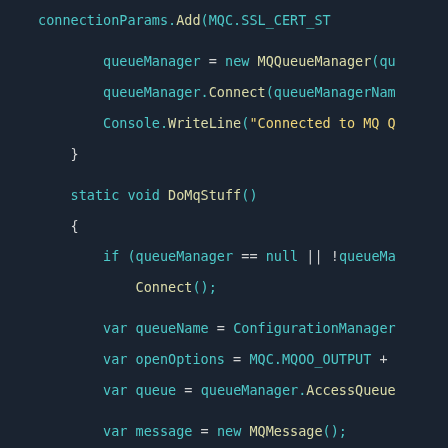[Figure (screenshot): Dark-themed code editor screenshot showing C# source code for MQ queue manager connection and message sending. Code includes queueManager instantiation, Connect, Console.WriteLine, DoMqStuff method, null check, variable declarations for queueName, openOptions, queue, message, CharacterSet, WriteString, Format, putOptions, and queue.Put call.]